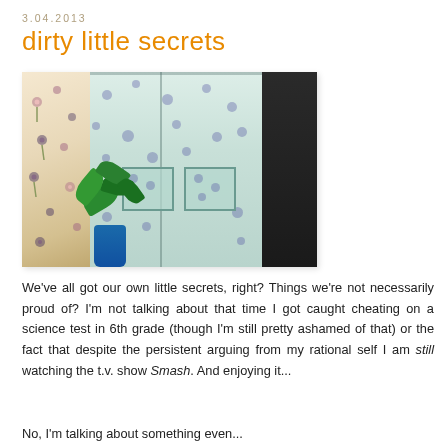3.04.2013
dirty little secrets
[Figure (photo): Photo of a light blue polka-dot shirt/garment hanging on a hanger, with a floral curtain visible on the left side and a blue vase with green plant leaves in the lower left foreground.]
We've all got our own little secrets, right? Things we're not necessarily proud of? I'm not talking about that time I got caught cheating on a science test in 6th grade (though I'm still pretty ashamed of that) or the fact that despite the persistent arguing from my rational self I am still watching the t.v. show Smash. And enjoying it...
No, I'm talking about something even...